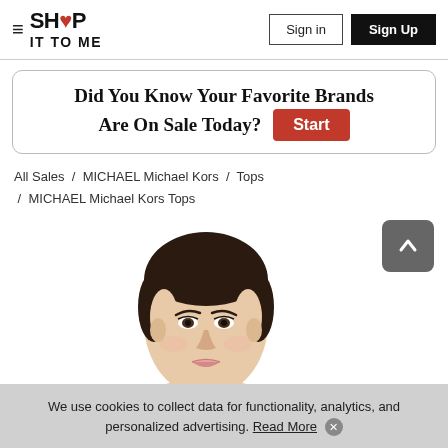SHOP IT TO ME — Sign in | Sign Up
Did You Know Your Favorite Brands Are On Sale Today? Start
All Sales / MICHAEL Michael Kors / Tops / MICHAEL Michael Kors Tops
[Figure (photo): Close-up photo of a young dark-haired female model from shoulders up, facing slightly left, with hair pulled back, wearing no visible top — product model shot for MICHAEL Michael Kors Tops]
We use cookies to collect data for functionality, analytics, and personalized advertising. Read More